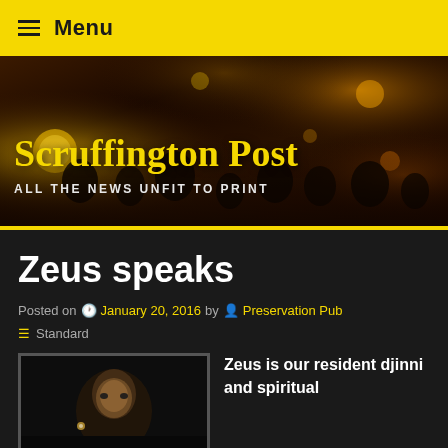Menu
[Figure (photo): Hero banner image showing a dark, moody bar/pub scene with blurred crowd and warm yellow-orange bokeh lights]
Scruffington Post
ALL THE NEWS UNFIT TO PRINT
Zeus speaks
Posted on  January 20, 2016 by  Preservation Pub  Standard
[Figure (photo): Close-up portrait photo of a person's face in dark/dim lighting against a black background]
Zeus is our resident djinni and spiritual